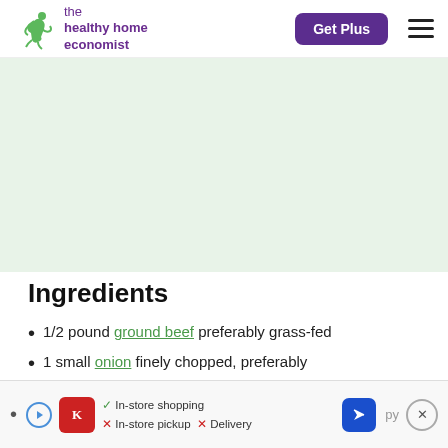the healthy home economist | Get Plus
[Figure (illustration): Light green rectangular image placeholder area]
Ingredients
1/2 pound ground beef preferably grass-fed
1 small onion finely chopped, preferably organic
[Figure (screenshot): Ad banner: Kroger in-store shopping ad with play button, logo, checkmarks for In-store shopping, X for In-store pickup, X for Delivery, navigation arrow button, and close button]